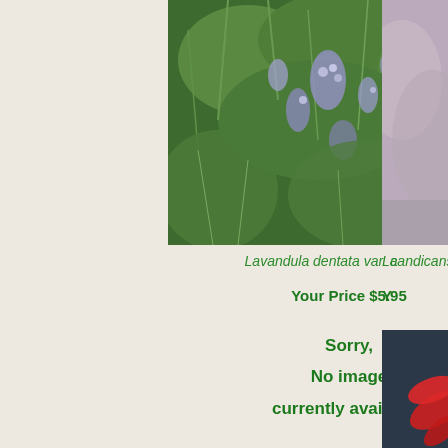[Figure (photo): Close-up photograph of Lavandula dentata var. candicans plant with purple/blue flowers and green feathery foliage]
Lavandula dentata var. candicans
Your Price $5.95
[Figure (photo): Partially visible pinkish/mauve colored photograph on right side, partially cropped]
La
Y
Sorry,
No image
currently available.
[Figure (photo): Partially visible photo of Mimulus cardinalis with red flower and orange/yellow details on dark background]
Mimulus c
Y
Lobelia laxiflora (Mexican Lobelia)